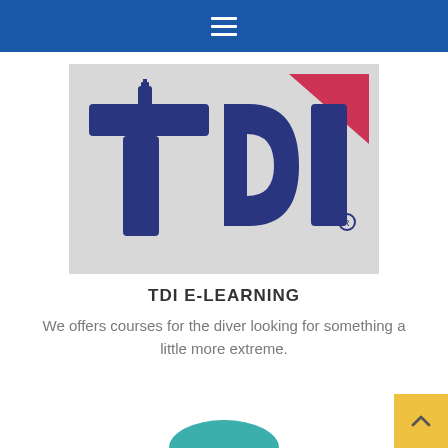Navigation bar with hamburger menu icon
[Figure (logo): TDI (Technical Diving International) logo on grey background. Large dark navy blue letters 'TDI' with a scuba tank integrated into the letter 'T', and a red/pink triangle in the upper right corner. Registered trademark symbol at bottom right.]
TDI E-LEARNING
We offers courses for the diver looking for something a little more extreme.